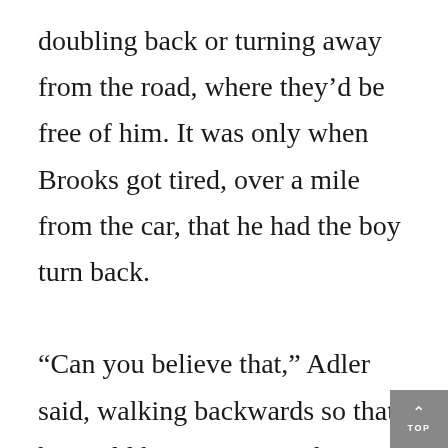doubling back or turning away from the road, where they'd be free of him. It was only when Brooks got tired, over a mile from the car, that he had the boy turn back.

“Can you believe that,” Adler said, walking backwards so that he could keep taunting the cattle. “Dumb Cows.” Then he sucked in his breath and bellowed, “Asshole cows!” while